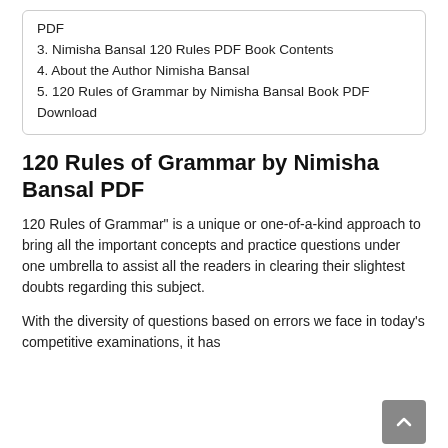PDF
3. Nimisha Bansal 120 Rules PDF Book Contents
4. About the Author Nimisha Bansal
5. 120 Rules of Grammar by Nimisha Bansal Book PDF Download
120 Rules of Grammar by Nimisha Bansal PDF
120 Rules of Grammar" is a unique or one-of-a-kind approach to bring all the important concepts and practice questions under one umbrella to assist all the readers in clearing their slightest doubts regarding this subject.
With the diversity of questions based on errors we face in today's competitive examinations, it has